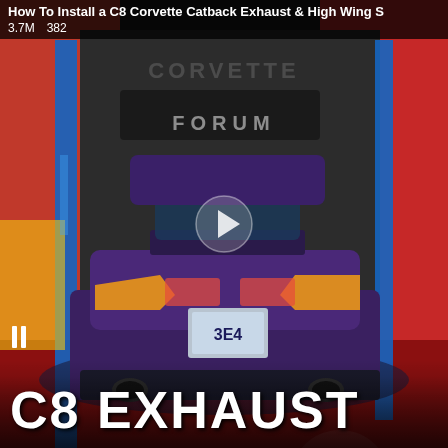[Figure (screenshot): Video thumbnail showing a C8 Corvette on a lift in a garage with red background graphics and 'C8 EXHAUST' text overlay. The car is dark blue/purple, viewed from the rear. The thumbnail is from Corvette Forum and shows the car being worked on for a catback exhaust and high wing spoiler installation.]
How To Install a C8 Corvette Catback Exhaust & High Wing S
3.7M   382
C8 EXHAUST